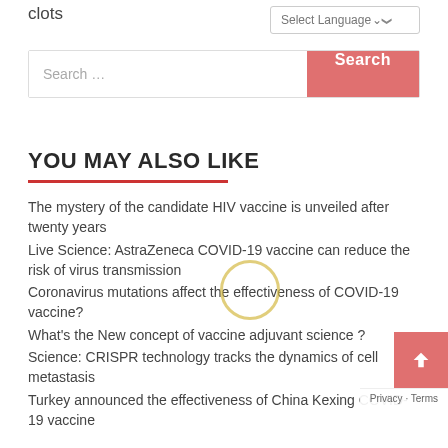clots
Select Language
Search ...
YOU MAY ALSO LIKE
The mystery of the candidate HIV vaccine is unveiled after twenty years
Live Science: AstraZeneca COVID-19 vaccine can reduce the risk of virus transmission
Coronavirus mutations affect the effectiveness of COVID-19 vaccine?
What's the New concept of vaccine adjuvant science ?
Science: CRISPR technology tracks the dynamics of cell metastasis
Turkey announced the effectiveness of China Kexing COVID-19 vaccine